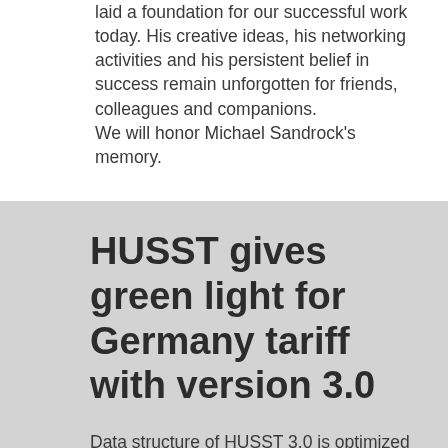laid a foundation for our successful work today. His creative ideas, his networking activities and his persistent belief in success remain unforgotten for friends, colleagues and companions.
We will honor Michael Sandrock's memory.
HUSST gives green light for Germany tariff with version 3.0
Data structure of HUSST 3.0 is optimized for processing huge amounts of data and is well prepared for the implementation of